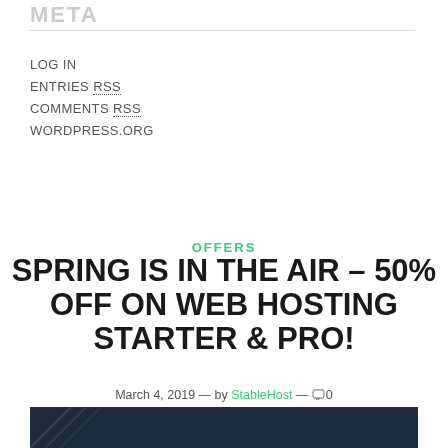META
LOG IN
ENTRIES RSS
COMMENTS RSS
WORDPRESS.ORG
OFFERS
SPRING IS IN THE AIR – 50% OFF ON WEB HOSTING STARTER & PRO!
March 4, 2019 — by StableHost — 0
[Figure (photo): Dark blue/navy background image with diagonal pattern at the bottom of the page]